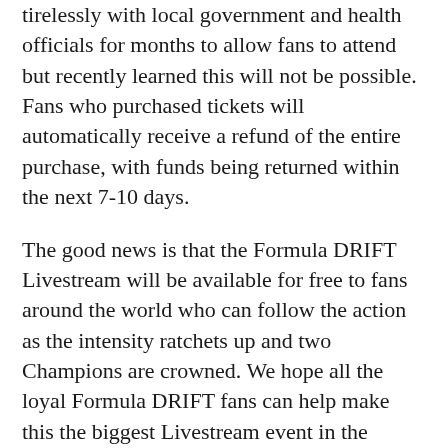tirelessly with local government and health officials for months to allow fans to attend but recently learned this will not be possible. Fans who purchased tickets will automatically receive a refund of the entire purchase, with funds being returned within the next 7-10 days.
The good news is that the Formula DRIFT Livestream will be available for free to fans around the world who can follow the action as the intensity ratchets up and two Champions are crowned. We hope all the loyal Formula DRIFT fans can help make this the biggest Livestream event in the series' history as we enjoy the first competition of the year to run at night under the lights. And as an extra incentive, this will be the first time all PRO category cars will be running TYPE S PRO Series LED lighting kits to help viewers catch more of the action. The track itself will also have LED lighting to help make this the most spectacular weekend in Formula DRIFT history.